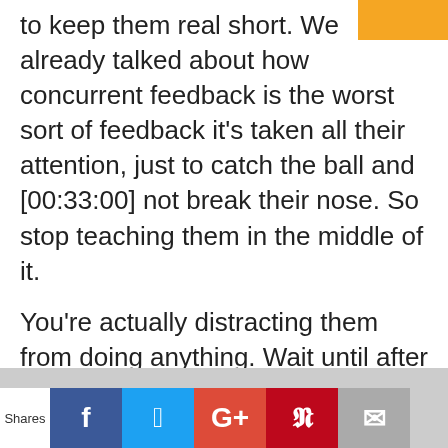to keep them real short. We already talked about how concurrent feedback is the worst sort of feedback it's taken all their attention, just to catch the ball and [00:33:00] not break their nose. So stop teaching them in the middle of it.
You're actually distracting them from doing anything. Wait until after the game and teach a little bit. Then if you want something, use some sort of constraint to direct director, desired outcome. If you want players to move around more without the basketball. Take away dribbles they'll have to move around in order to get the ball.
Shares | Facebook | Twitter | Google+ | Pinterest | Email